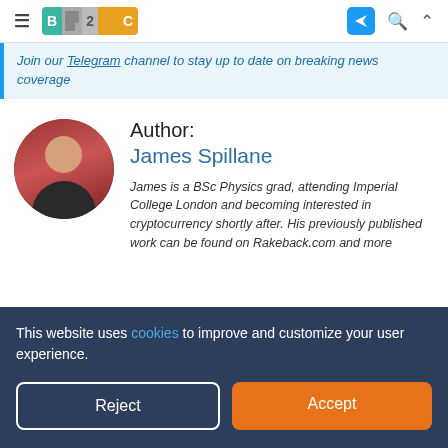B2C navigation bar with hamburger menu, B2C logo, telegram icon, search, and up arrow
Join our Telegram channel to stay up to date on breaking news coverage
[Figure (photo): Circular photo of James Spillane, a young man in a dark shirt, in front of a red/dark background]
Author:
James Spillane

James is a BSc Physics grad, attending Imperial College London and becoming interested in cryptocurrency shortly after. His previously published work can be found on Rakeback.com and more
This website uses cookies to improve and customize your user experience.
Reject
Accept